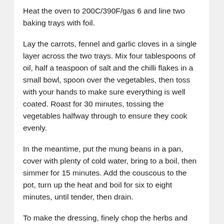Heat the oven to 200C/390F/gas 6 and line two baking trays with foil.
Lay the carrots, fennel and garlic cloves in a single layer across the two trays. Mix four tablespoons of oil, half a teaspoon of salt and the chilli flakes in a small bowl, spoon over the vegetables, then toss with your hands to make sure everything is well coated. Roast for 30 minutes, tossing the vegetables halfway through to ensure they cook evenly.
In the meantime, put the mung beans in a pan, cover with plenty of cold water, bring to a boil, then simmer for 15 minutes. Add the couscous to the pot, turn up the heat and boil for six to eight minutes, until tender, then drain.
To make the dressing, finely chop the herbs and fennel tops, put in a bowl and add the chopped flesh of the roast garlic, the lemon juice, capers, mustard and a quarter-teaspoon of salt. Add enough olive oil to make a dressing (roughly three to five tablespoons), mix very well, then